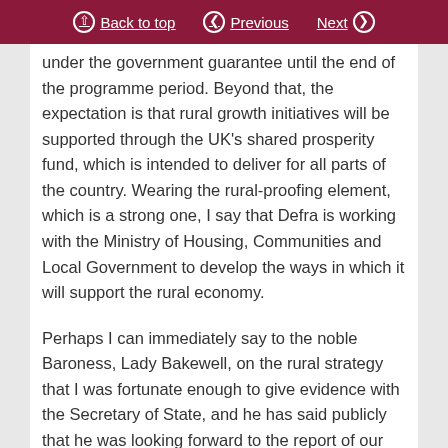Back to top | Previous | Next
under the government guarantee until the end of the programme period. Beyond that, the expectation is that rural growth initiatives will be supported through the UK’s shared prosperity fund, which is intended to deliver for all parts of the country. Wearing the rural-proofing element, which is a strong one, I say that Defra is working with the Ministry of Housing, Communities and Local Government to develop the ways in which it will support the rural economy.
Perhaps I can immediately say to the noble Baroness, Lady Bakewell, on the rural strategy that I was fortunate enough to give evidence with the Secretary of State, and he has said publicly that he was looking forward to the report of our Select